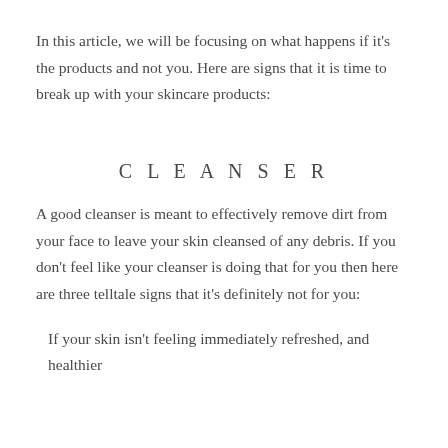In this article, we will be focusing on what happens if it's the products and not you. Here are signs that it is time to break up with your skincare products:
CLEANSER
A good cleanser is meant to effectively remove dirt from your face to leave your skin cleansed of any debris. If you don't feel like your cleanser is doing that for you then here are three telltale signs that it's definitely not for you:
If your skin isn't feeling immediately refreshed, and healthier